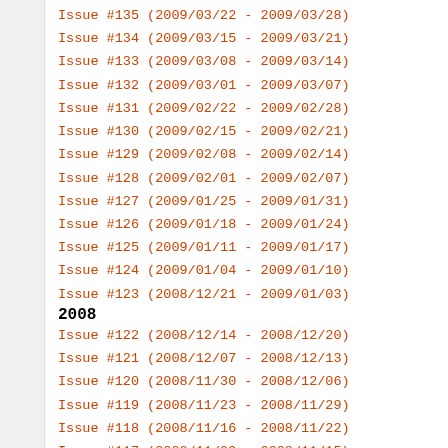Issue #135 (2009/03/22 - 2009/03/28)
Issue #134 (2009/03/15 - 2009/03/21)
Issue #133 (2009/03/08 - 2009/03/14)
Issue #132 (2009/03/01 - 2009/03/07)
Issue #131 (2009/02/22 - 2009/02/28)
Issue #130 (2009/02/15 - 2009/02/21)
Issue #129 (2009/02/08 - 2009/02/14)
Issue #128 (2009/02/01 - 2009/02/07)
Issue #127 (2009/01/25 - 2009/01/31)
Issue #126 (2009/01/18 - 2009/01/24)
Issue #125 (2009/01/11 - 2009/01/17)
Issue #124 (2009/01/04 - 2009/01/10)
Issue #123 (2008/12/21 - 2009/01/03)
2008
Issue #122 (2008/12/14 - 2008/12/20)
Issue #121 (2008/12/07 - 2008/12/13)
Issue #120 (2008/11/30 - 2008/12/06)
Issue #119 (2008/11/23 - 2008/11/29)
Issue #118 (2008/11/16 - 2008/11/22)
Issue #117 (2008/11/09 - 2008/11/15)
Issue #116 (2008/11/02 - 2008/11/08)
Issue #115 (2008/10/26 - 2008/11/01)